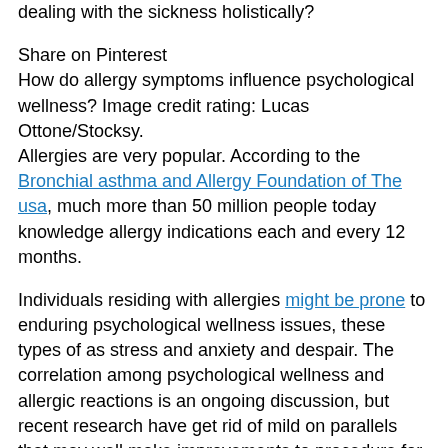dealing with the sickness holistically?
Share on Pinterest
How do allergy symptoms influence psychological wellness? Image credit rating: Lucas Ottone/Stocksy.
Allergies are very popular. According to the Bronchial asthma and Allergy Foundation of The usa, much more than 50 million people today knowledge allergy indications each and every 12 months.
Individuals residing with allergies might be prone to enduring psychological wellness issues, these types of as stress and anxiety and despair. The correlation among psychological wellness and allergic reactions is an ongoing discussion, but recent research have get rid of mild on parallels that may well make improvements to procedure for sufferers.
Allergies themselves can have a significant impression on a person's psychological wellness. Why is this the situation, and how can the healthcare neighborhood broaden the discussion